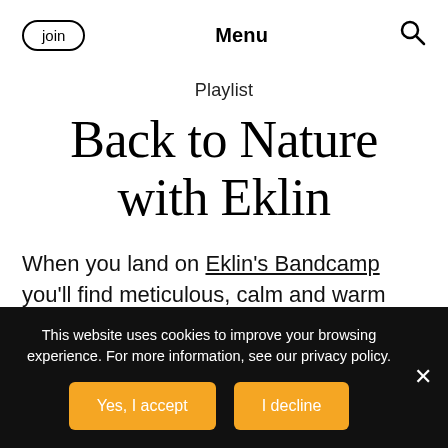join | Menu | [search icon]
Playlist
Back to Nature with Eklin
When you land on Eklin's Bandcamp you'll find meticulous, calm and warm sounds bursting with pristine melodies from
This website uses cookies to improve your browsing experience. For more information, see our privacy policy.